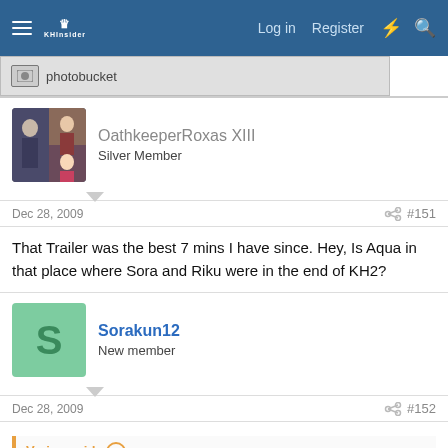Log in   Register
[Figure (screenshot): Photobucket logo/image placeholder strip]
OathkeeperRoxas XIII
Silver Member
Dec 28, 2009   #151
That Trailer was the best 7 mins I have since. Hey, Is Aqua in that place where Sora and Riku were in the end of KH2?
Sorakun12
New member
Dec 28, 2009   #152
Veriun said:
Is there something stuck in the palm tree beside Ven?